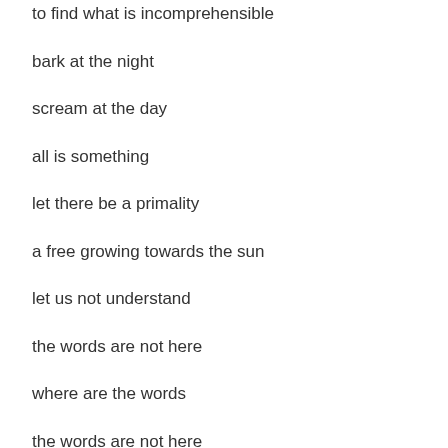to find what is incomprehensible
bark at the night
scream at the day
all is something
let there be a primality
a free growing towards the sun
let us not understand
the words are not here
where are the words
the words are not here